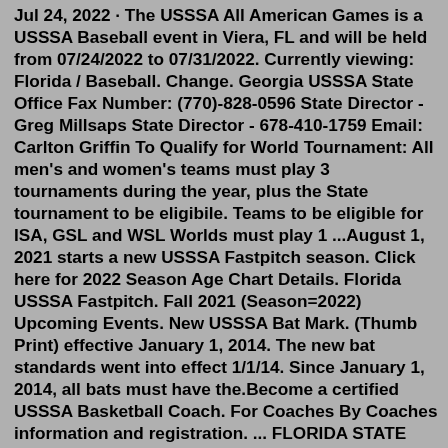Jul 24, 2022 · The USSSA All American Games is a USSSA Baseball event in Viera, FL and will be held from 07/24/2022 to 07/31/2022. Currently viewing: Florida / Baseball. Change. Georgia USSSA State Office Fax Number: (770)-828-0596 State Director - Greg Millsaps State Director - 678-410-1759 Email: Carlton Griffin To Qualify for World Tournament: All men's and women's teams must play 3 tournaments during the year, plus the State tournament to be eligibile. Teams to be eligible for ISA, GSL and WSL Worlds must play 1 ...August 1, 2021 starts a new USSSA Fastpitch season. Click here for 2022 Season Age Chart Details. Florida USSSA Fastpitch. Fall 2021 (Season=2022) Upcoming Events. New USSSA Bat Mark. (Thumb Print) effective January 1, 2014. The new bat standards went into effect 1/1/14. Since January 1, 2014, all bats must have the.Become a certified USSSA Basketball Coach. For Coaches By Coaches information and registration. ... FLORIDA STATE CHAMPIONSHIP